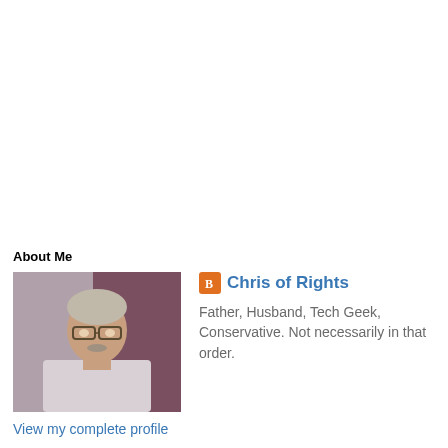About Me
[Figure (photo): Profile photo of Chris of Rights, a middle-aged man with glasses and light hair, seated indoors]
Chris of Rights
Father, Husband, Tech Geek, Conservative. Not necessarily in that order.
View my complete profile